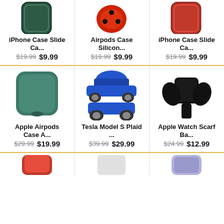[Figure (photo): iPhone Case Slide Ca... product image - green phone case]
iPhone Case Slide Ca...
$19.99 $9.99
[Figure (photo): Airpods Case Silicon... product image - red airpods case]
Airpods Case Silicon...
$19.99 $9.99
[Figure (photo): iPhone Case Slide Ca... product image - red phone case]
iPhone Case Slide Ca...
$19.99 $9.99
[Figure (photo): Apple Airpods Case A... product image - green airpods case]
Apple Airpods Case A...
$29.99 $19.99
[Figure (photo): Tesla Model S Plaid ... product image - blue toy car]
Tesla Model S Plaid ...
$39.99 $29.99
[Figure (photo): Apple Watch Scarf Ba... product image - black watch band with bow]
Apple Watch Scarf Ba...
$24.99 $12.99
[Figure (photo): Partially visible product images in the bottom row]